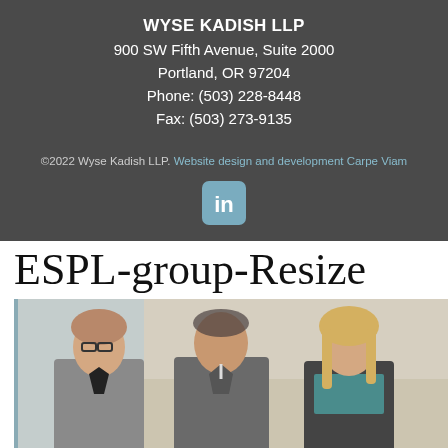WYSE KADISH LLP
900 SW Fifth Avenue, Suite 2000
Portland, OR 97204
Phone: (503) 228-8448
Fax: (503) 273-9135
©2022 Wyse Kadish LLP. Website design and development Carpe Viam
[Figure (logo): LinkedIn icon — rounded square badge with 'in' text in white on a steel-blue background]
ESPL-group-Resize
[Figure (photo): Group photo of three professionals (two women and one man) standing in a hallway or office entrance. The woman on the left wears glasses and a grey blazer. The man in the center wears a grey v-neck sweater over a collared shirt. The woman on the right has long blonde hair and wears a teal top under a dark blazer. Background shows glass wall on the left and a warm-toned doorway on the right.]